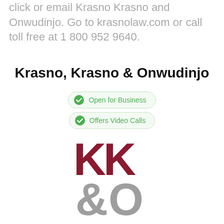click or email Krasno Krasno and Onwudinjo. Go to krasnolaw.com or call toll free at 1 800 952 9640.
Krasno, Krasno & Onwudinjo
Open for Business
Offers Video Calls
[Figure (logo): KK&O law firm logo with dark red KK letters and grey &O letters]